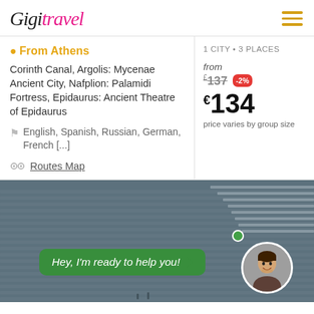Gigi travel
From Athens
Corinth Canal, Argolis: Mycenae Ancient City, Nafplion: Palamidi Fortress, Epidaurus: Ancient Theatre of Epidaurus
English, Spanish, Russian, German, French [...]
Routes Map
1 CITY • 3 PLACES
from £137 -2% €134 price varies by group size
[Figure (photo): Aerial view of an ancient Greek amphitheatre (theatre of Epidaurus) with stone seating rows, with a chat bubble overlay saying 'Hey, I'm ready to help you!' and a circular avatar of a young man.]